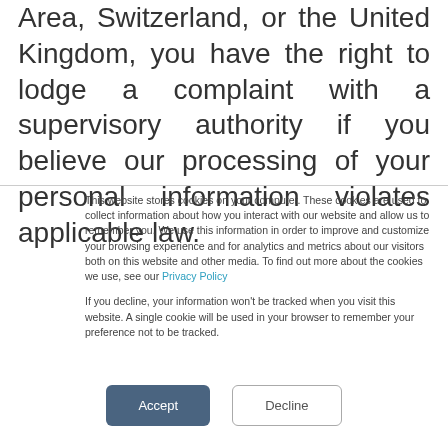Area, Switzerland, or the United Kingdom, you have the right to lodge a complaint with a supervisory authority if you believe our processing of your personal information violates applicable law.
This website stores cookies on your computer. These cookies are used to collect information about how you interact with our website and allow us to remember you. We use this information in order to improve and customize your browsing experience and for analytics and metrics about our visitors both on this website and other media. To find out more about the cookies we use, see our Privacy Policy
If you decline, your information won't be tracked when you visit this website. A single cookie will be used in your browser to remember your preference not to be tracked.